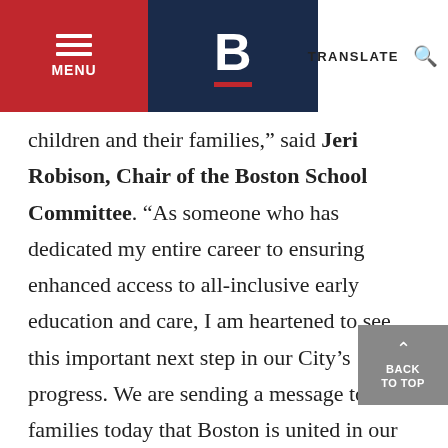MENU | B | TRANSLATE
children and their families,” said Jeri Robison, Chair of the Boston School Committee. “As someone who has dedicated my entire career to ensuring enhanced access to all-inclusive early education and care, I am heartened to see this important next step in our City’s progress. We are sending a message to our families today that Boston is united in our work to help our youngest learners